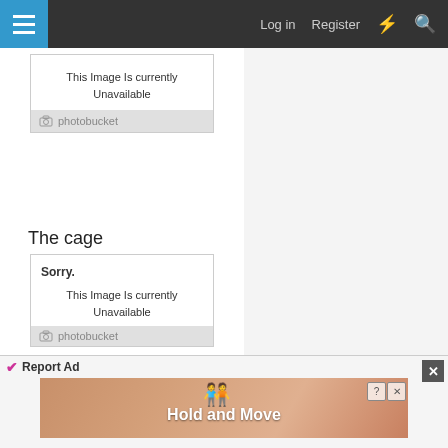Log in  Register
[Figure (screenshot): Photobucket unavailable image placeholder showing 'Sorry. This Image Is Currently Unavailable' with photobucket logo footer]
The cage
[Figure (screenshot): Photobucket unavailable image placeholder showing 'Sorry. This Image Is Currently Unavailable' with photobucket logo footer]
[Figure (screenshot): Photobucket unavailable image placeholder showing 'Sorry.' partial view]
Report Ad
[Figure (screenshot): Ad banner showing 'Hold and Move' with blue figures and close/help buttons]